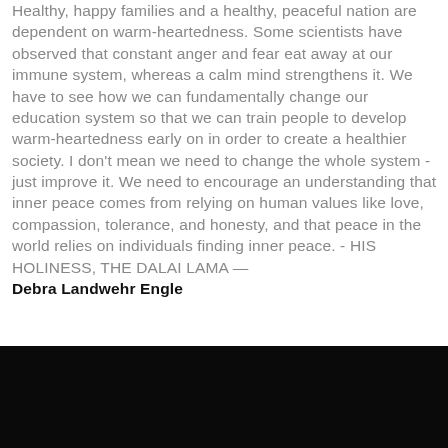Healthy, happy families and a healthy, peaceful nation are dependent on warm-heartedness. Some scientists have observed that constant anger and fear eat away at our immune system, whereas a calm mind strengthens it. We have to see how we can fundamentally change our education system so that we can train people to develop warm-heartedness early on in order to create a healthier society. I don't mean we need to change the whole system - just improve it. We need to encourage an understanding that inner peace comes from relying on human values like love, compassion, tolerance, and honesty, and that peace in the world relies on individuals finding inner peace. - HIS HOLINESS, THE DALAI LAMA — Debra Landwehr Engle
[Figure (photo): Dark/black image at the bottom of the page, appears to be a photograph with very dark tones, nearly all black.]